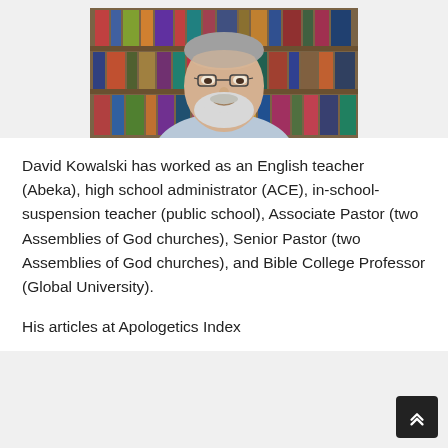[Figure (photo): Portrait photo of David Kowalski, an older man with glasses and a white beard, wearing a light blue shirt, with bookshelves visible in the background.]
David Kowalski has worked as an English teacher (Abeka), high school administrator (ACE), in-school-suspension teacher (public school), Associate Pastor (two Assemblies of God churches), Senior Pastor (two Assemblies of God churches), and Bible College Professor (Global University).
His articles at Apologetics Index